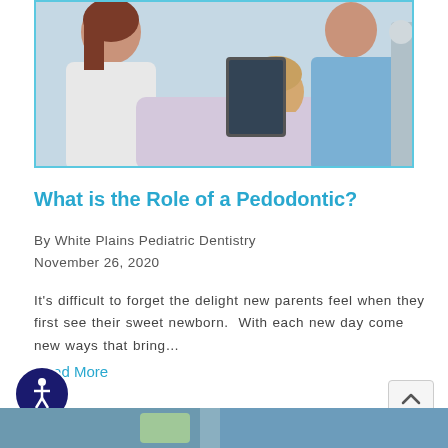[Figure (photo): A young girl lying in a dental chair looking up, with a dental professional in a white coat and another person in a blue shirt standing nearby in a dental office setting.]
What is the Role of a Pedodontic?
By White Plains Pediatric Dentistry
November 26, 2020
It's difficult to forget the delight new parents feel when they first see their sweet newborn.  With each new day come new ways that bring…
Read More
[Figure (photo): Partial view of a dental setting at the bottom of the page, showing blurred dental equipment and teal/blue colors.]